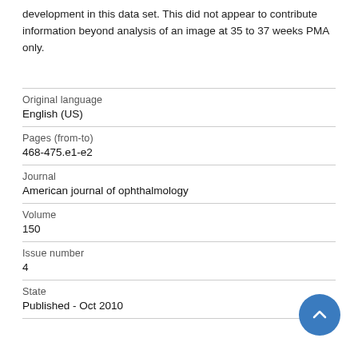development in this data set. This did not appear to contribute information beyond analysis of an image at 35 to 37 weeks PMA only.
| Original language | English (US) |
| Pages (from-to) | 468-475.e1-e2 |
| Journal | American journal of ophthalmology |
| Volume | 150 |
| Issue number | 4 |
| State | Published - Oct 2010 |